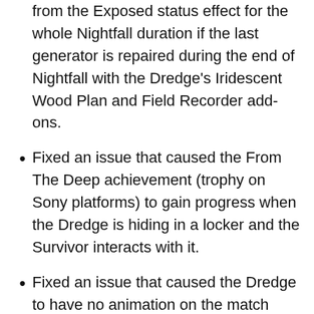Fixed an issue that caused Survivors to suffer from the Exposed status effect for the whole Nightfall duration if the last generator is repaired during the end of Nightfall with the Dredge's Iridescent Wood Plan and Field Recorder add-ons.
Fixed an issue that caused the From The Deep achievement (trophy on Sony platforms) to gain progress when the Dredge is hiding in a locker and the Survivor interacts with it.
Fixed an issue that caused the Dredge to have no animation on the match result screen when the match ends while it was in a locker.
Fixed an issue that caused the aspect ratio black bars to disappear when the Dredge is in a locker.